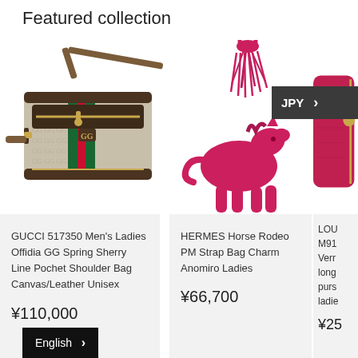Featured collection
[Figure (photo): Gucci 517350 GG Supreme monogram canvas crossbody bag with green and red Sherry stripe and brown leather trim]
[Figure (photo): Hermes Horse Rodeo PM pink/magenta leather bag charm with tassel]
[Figure (photo): Louis Vuitton red leather zippy wallet, partially cropped]
GUCCI 517350 Men's Ladies Offidia GG Spring Sherry Line Pochet Shoulder Bag Canvas/Leather Unisex
¥110,000
HERMES Horse Rodeo PM Strap Bag Charm Anomiro Ladies
¥66,700
LOU M91... Verr long purs ladie
¥25...
JPY
English